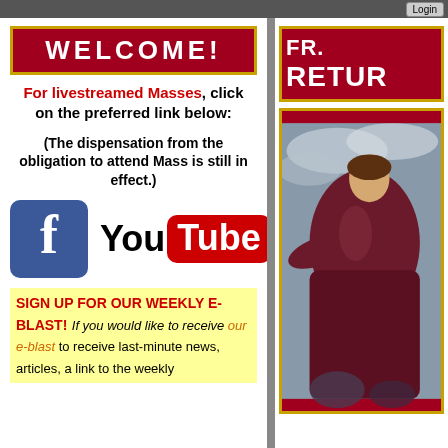Login
WELCOME!
For livestreamed Masses, click on the preferred link below:
(The dispensation from the obligation to attend Mass is still in effect.)
[Figure (logo): Facebook logo - blue square with white lowercase f]
[Figure (logo): YouTube logo - You in black text with Tube in white on red rounded rectangle]
SIGN UP FOR OUR WEEKLY E-BLAST! If you would like to receive our e-blast to receive last-minute news, articles, a link to the weekly
FR. RETUR
[Figure (photo): Classical religious painting of Jesus Christ in robes with heavenly clouds and figures below]